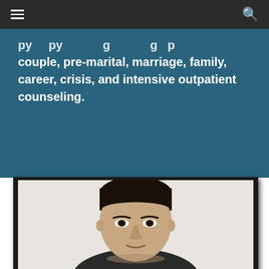Navigation bar with menu and search icons
… couple, pre-marital, marriage, family, career, crisis, and intensive outpatient counseling.
[Figure (photo): Portrait photograph of a young man with short dark hair against a light background, shown from shoulders up, framed with a dark border.]